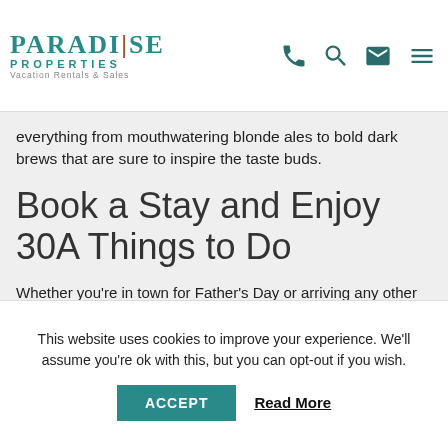PARADISE PROPERTIES Vacation Rentals & Sales
everything from mouthwatering blonde ales to bold dark brews that are sure to inspire the taste buds.
Book a Stay and Enjoy 30A Things to Do
Whether you're in town for Father's Day or arriving any other time of year, the team at Paradise Properties is here to handle your accommodation details. Contact us today to learn more about 30A things to do and to start planning your trip!
This website uses cookies to improve your experience. We'll assume you're ok with this, but you can opt-out if you wish.